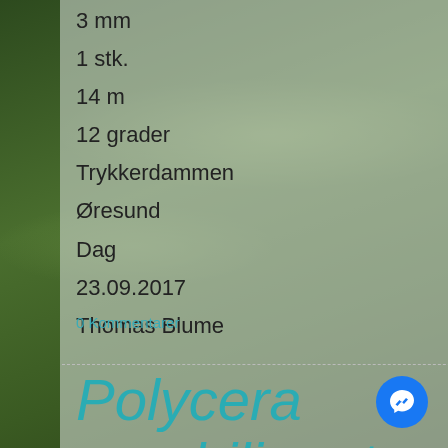3 mm
1 stk.
14 m
12 grader
Trykkerdammen
Øresund
Dag
23.09.2017
Thomas Blume
0 Kommentarer
Polycera quadrilineata